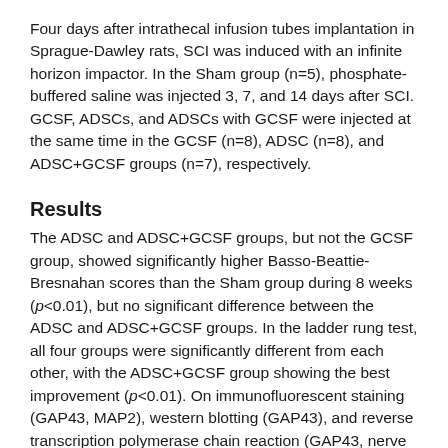Four days after intrathecal infusion tubes implantation in Sprague-Dawley rats, SCI was induced with an infinite horizon impactor. In the Sham group (n=5), phosphate-buffered saline was injected 3, 7, and 14 days after SCI. GCSF, ADSCs, and ADSCs with GCSF were injected at the same time in the GCSF (n=8), ADSC (n=8), and ADSC+GCSF groups (n=7), respectively.
Results
The ADSC and ADSC+GCSF groups, but not the GCSF group, showed significantly higher Basso-Beattie-Bresnahan scores than the Sham group during 8 weeks (p<0.01), but no significant difference between the ADSC and ADSC+GCSF groups. In the ladder rung test, all four groups were significantly different from each other, with the ADSC+GCSF group showing the best improvement (p<0.01). On immunofluorescent staining (GAP43, MAP2), western blotting (GAP43), and reverse transcription polymerase chain reaction (GAP43, nerve growth factor), the ADSC and ADSC+GCSF groups showed higher levels than the Sham and GCSF groups.
Conclusion